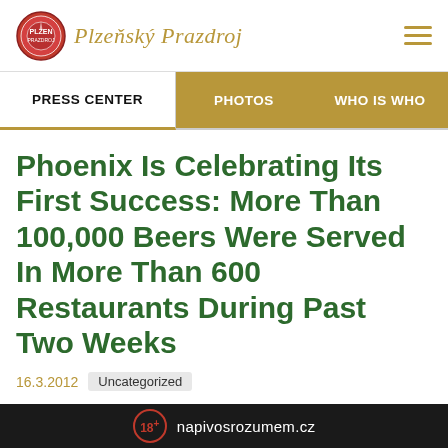Plzeňský Prazdroj
PRESS CENTER | PHOTOS | WHO IS WHO
Phoenix Is Celebrating Its First Success: More Than 100,000 Beers Were Served In More Than 600 Restaurants During Past Two Weeks
16.3.2012  Uncategorized
[Figure (photo): Partial image of beer/golden background visible at bottom of page]
18+ napivosrozumem.cz